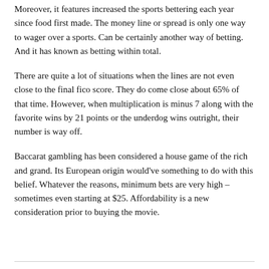Moreover, it features increased the sports bettering each year since food first made. The money line or spread is only one way to wager over a sports. Can be certainly another way of betting. And it has known as betting within total.
There are quite a lot of situations when the lines are not even close to the final fico score. They do come close about 65% of that time. However, when multiplication is minus 7 along with the favorite wins by 21 points or the underdog wins outright, their number is way off.
Baccarat gambling has been considered a house game of the rich and grand. Its European origin would've something to do with this belief. Whatever the reasons, minimum bets are very high – sometimes even starting at $25. Affordability is a new consideration prior to buying the movie.